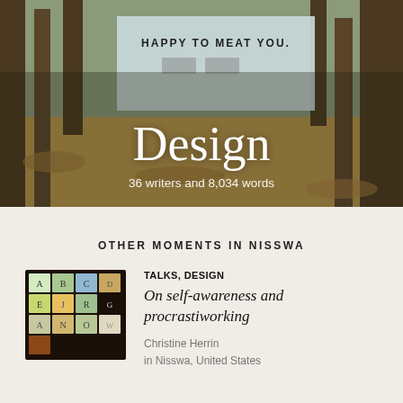[Figure (photo): Outdoor forest scene with a banner reading HAPPY TO MEAT YOU. with logos below, trees and fallen leaves in background. Large white text 'Design' overlaid with subtitle '36 writers and 8,034 words']
OTHER MOMENTS IN NISSWA
[Figure (photo): Thumbnail image of colorful illuminated letter tiles arranged in a grid on a dark background]
TALKS, DESIGN
On self-awareness and procrastiworking
Christine Herrin
in Nisswa, United States